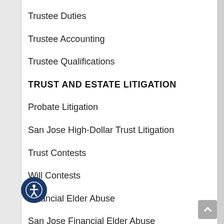Trustee Duties
Trustee Accounting
Trustee Qualifications
TRUST AND ESTATE LITIGATION
Probate Litigation
San Jose High-Dollar Trust Litigation
Trust Contests
Will Contests
Financial Elder Abuse
San Jose Financial Elder Abuse